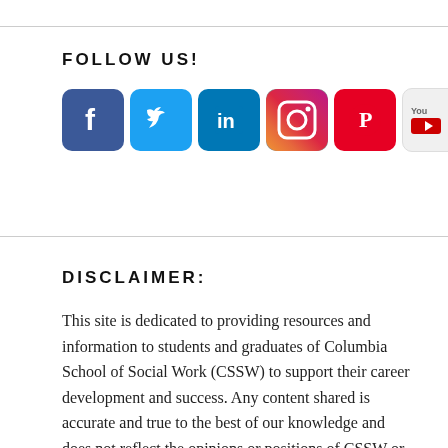FOLLOW US!
[Figure (infographic): Row of social media icons: Facebook, Twitter, LinkedIn, Instagram, Pinterest, YouTube]
DISCLAIMER:
This site is dedicated to providing resources and information to students and graduates of Columbia School of Social Work (CSSW) to support their career development and success. Any content shared is accurate and true to the best of our knowledge and does not reflect the opinions or positions of CSSW or Columbia